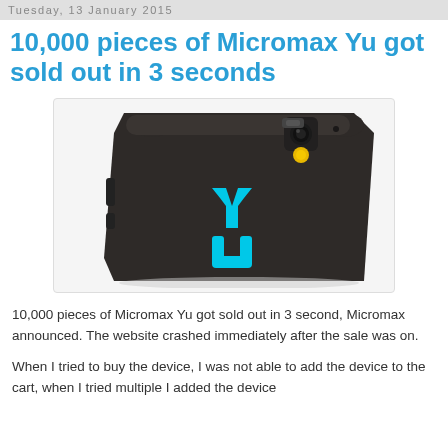Tuesday, 13 January 2015
10,000 pieces of Micromax Yu got sold out in 3 seconds
[Figure (photo): Back view of a dark brown Micromax Yu smartphone showing the cyan 'YU' logo, camera lens, yellow flash, and side buttons on a white background.]
10,000 pieces of Micromax Yu got sold out in 3 second, Micromax announced. The website crashed immediately after the sale was on.
When I tried to buy the device, I was not able to add the device to the cart, when I tried multiple I added the device